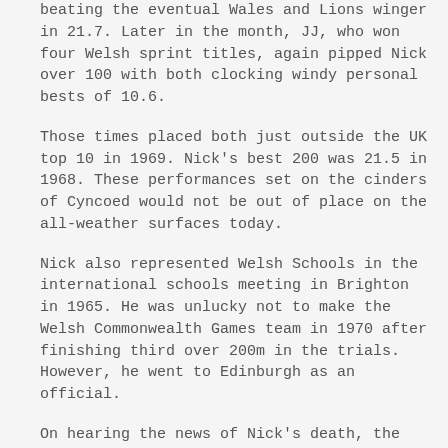beating the eventual Wales and Lions winger in 21.7. Later in the month, JJ, who won four Welsh sprint titles, again pipped Nick over 100 with both clocking windy personal bests of 10.6.
Those times placed both just outside the UK top 10 in 1969. Nick's best 200 was 21.5 in 1968. These performances set on the cinders of Cyncoed would not be out of place on the all-weather surfaces today.
Nick also represented Welsh Schools in the international schools meeting in Brighton in 1965. He was unlucky not to make the Welsh Commonwealth Games team in 1970 after finishing third over 200m in the trials. However, he went to Edinburgh as an official.
On hearing the news of Nick's death, the 1964 Olympic long jump champion, Lynn Davies, who was Nick's lecturer at Cardiff College said that he was the leading light of the athletics team at college and